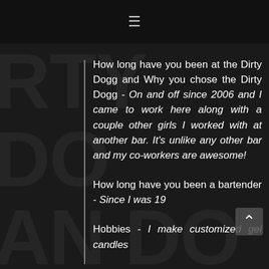☰
How long have you been at the Dirty Dogg and Why you chose the Dirty Dogg - On and off since 2006 and I came to work here along with a couple other girls I worked with at another bar. It's unlike any other bar and my co-workers are awesome!
How long have you been a bartender - Since I was 19
Hobbies - I make customized gel candles